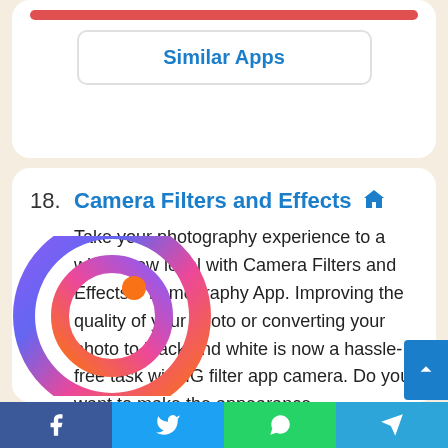[Figure (other): Red bar and Similar Apps button inside a white card]
18. Camera Filters and Effects  Take your photography experience to a whole new level with Camera Filters and Effects – Lomography App. Improving the quality of your photo or converting your photo to black and white is now a hassle-free task with IG filter app camera. Do you want to make the appearance
[Figure (logo): Camera Filters and Effects – Lomography App circular gradient logo (purple to pink to orange gradient ring with a small orange dot)]
[Figure (other): Social sharing bar with Facebook, Twitter, WhatsApp, and Telegram buttons]